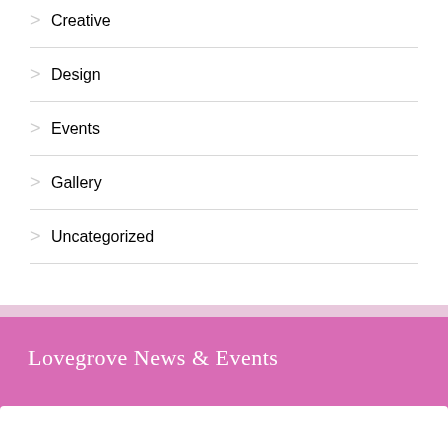> Creative
> Design
> Events
> Gallery
> Uncategorized
Lovegrove News & Events